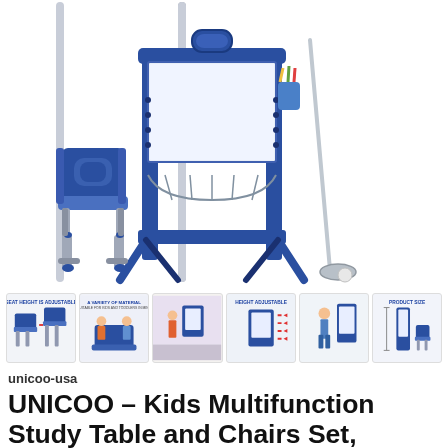[Figure (photo): Main product photo showing a blue UNICOO kids multifunction study table and easel set with a whiteboard, adjustable chair, golf club accessory, and storage cup on white background]
[Figure (photo): Thumbnail 1: Seat height is adjustable — diagram showing chair height adjustment with two chairs at different heights]
[Figure (photo): Thumbnail 2: A variety of material — kids using the table and easel set in a play setting]
[Figure (photo): Thumbnail 3: Child using the easel/art board in a room setting]
[Figure (photo): Thumbnail 4: Height adjustable — diagram showing height adjustment levels with arrows]
[Figure (photo): Thumbnail 5: Child standing next to the height-adjustable easel]
[Figure (photo): Thumbnail 6: Product size diagram showing full dimensions of the easel and chair]
unicoo-usa
UNICOO – Kids Multifunction Study Table and Chairs Set, Height Adjustable Kids